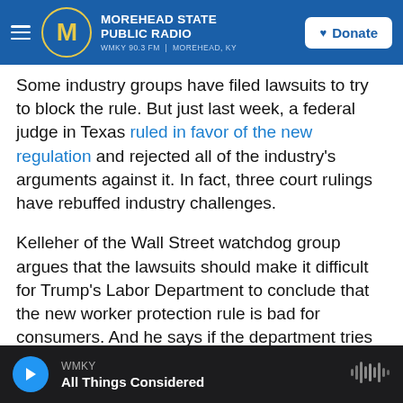MOREHEAD STATE PUBLIC RADIO — WMKY 90.3 FM | MOREHEAD, KY — Donate
Some industry groups have filed lawsuits to try to block the rule. But just last week, a federal judge in Texas ruled in favor of the new regulation and rejected all of the industry's arguments against it. In fact, three court rulings have rebuffed industry challenges.
Kelleher of the Wall Street watchdog group argues that the lawsuits should make it difficult for Trump's Labor Department to conclude that the new worker protection rule is bad for consumers. And he says if the department tries to weaken or kill the rule with a flimsy argument, "then we will sue them."
WMKY — All Things Considered